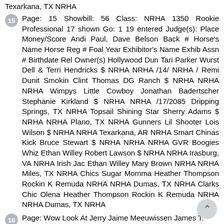Texarkana, TX NRHA
Page: 15 Showbill: 56 Class: NRHA 1350 Rookie Professional 17 shown Go: 1 19 entered Judge(s): Place Money/Score Andi Paul, Dave Belson Back # Horse's Name Horse Reg # Foal Year Exhibitor's Name Exhib Assn # Birthdate Rel Owner(s) Hollywood Dun Tari Parker Wurst Dell & Terri Hendricks $ NRHA NRHA /14/ NRHA / Remi Dunit Smokin Clint Thomas DG Ranch $ NRHA NRHA NRHA Wimpys Little Cowboy Jonathan Badertscher Stephanie Kirkland $ NRHA NRHA /17/2085 Dripping Springs, TX NRHA Topsail Shining Star Sherry Adams $ NRHA NRHA Plano, TX NRHA Gunners Lil Shooter Lois Wilson $ NRHA NRHA Texarkana, AR NRHA Smart Chinas Kick Bruce Stewart $ NRHA NRHA NRHA GVR Boogies Whiz Ethan Willey Robert Lawson $ NRHA NRHA Irasburg, VA NRHA Irish Jac Ethan Willey Mary Brown NRHA NRHA Miles, TX NRHA Chics Sugar Momma Heather Thompson Rockin K Remuda NRHA NRHA Dumas, TX NRHA Clarks Chic Olena Heather Thompson Rockin K Remuda NRHA NRHA Dumas, TX NRHA
Page: Wow Look At Jerry Jaime Meeuwissen James T.